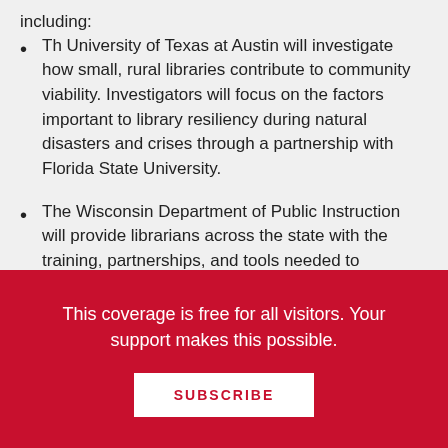including:
Th University of Texas at Austin will investigate how small, rural libraries contribute to community viability. Investigators will focus on the factors important to library resiliency during natural disasters and crises through a partnership with Florida State University.
The Wisconsin Department of Public Instruction will provide librarians across the state with the training, partnerships, and tools needed to enhance their
This coverage is free for all visitors. Your support makes this possible.
SUBSCRIBE